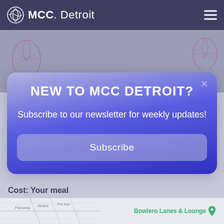MCC Detroit
[Figure (screenshot): Background image with decorative leaf/mesh elements on a muted purple-grey background]
NEW TO MCC DETROIT?
Subscribe to our newsletter for weekly updates!
Subscribe
Cost: Your meal
Host: Jackie Walker
[Figure (map): Street map showing Bowlero Lanes & Lounge location]